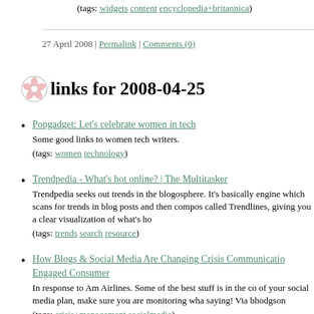(tags: widgets content encyclopedia+britannica)
27 April 2008 | Permalink | Comments (0)
links for 2008-04-25
Popgadget: Let's celebrate women in tech
Some good links to women tech writers.
(tags: women technology)
Trendpedia - What's hot online? | The Multitasker
Trendpedia seeks out trends in the blogosphere. It's basically engine which scans for trends in blog posts and then compos called Trendlines, giving you a clear visualization of what's ho
(tags: trends search resource)
How Blogs & Social Media Are Changing Crisis Communicatio Engaged Consumer
In response to Am Airlines. Some of the best stuff is in the co of your social media plan, make sure you are monitoring wha saying! Via bhodgson
(tags: crisis+management socialmedia)
Reuters/Second Life » Second Life Sketches: Drive My Car
"I have always felt that there's really only one way to properly